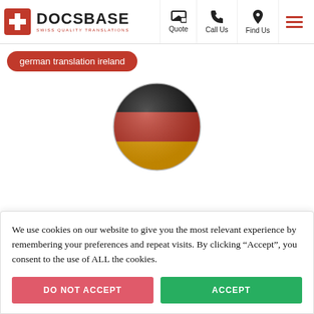DOCSBASE SWISS QUALITY TRANSLATIONS | Quote | Call Us | Find Us
german translation ireland
[Figure (illustration): Circular badge showing the German flag with three horizontal stripes: black on top, red in the middle, and gold/yellow on the bottom. The image has a slight 3D/glossy effect.]
We use cookies on our website to give you the most relevant experience by remembering your preferences and repeat visits. By clicking “Accept”, you consent to the use of ALL the cookies.
DO NOT ACCEPT | ACCEPT